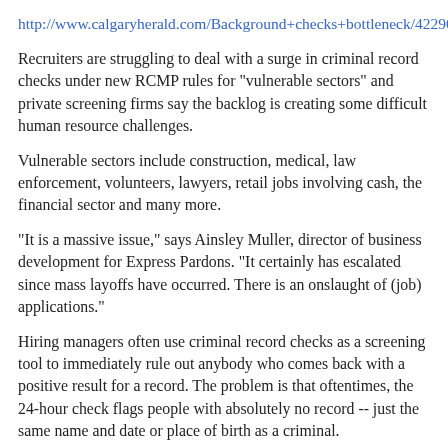http://www.calgaryherald.com/Background+checks+bottleneck/4229038/story.html#ixzz1DbgcWp1N
Recruiters are struggling to deal with a surge in criminal record checks under new RCMP rules for "vulnerable sectors" and private screening firms say the backlog is creating some difficult human resource challenges.
Vulnerable sectors include construction, medical, law enforcement, volunteers, lawyers, retail jobs involving cash, the financial sector and many more.
"It is a massive issue," says Ainsley Muller, director of business development for Express Pardons. "It certainly has escalated since mass layoffs have occurred. There is an onslaught of (job) applications."
Hiring managers often use criminal record checks as a screening tool to immediately rule out anybody who comes back with a positive result for a record. The problem is that oftentimes, the 24-hour check flags people with absolutely no record -- just the same name and date or place of birth as a criminal.